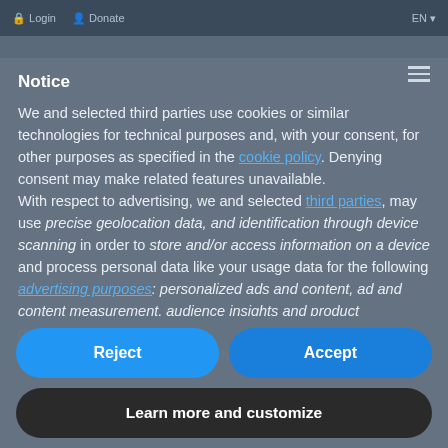Login  Donate  EN
Notice
We and selected third parties use cookies or similar technologies for technical purposes and, with your consent, for other purposes as specified in the cookie policy. Denying consent may make related features unavailable.
With respect to advertising, we and selected third parties, may use precise geolocation data, and identification through device scanning in order to store and/or access information on a device and process personal data like your usage data for the following advertising purposes: personalized ads and content, ad and content measurement, audience insights and product development.
You can freely give, deny, or withdraw your consent at any time
Reject
Accept
Learn more and customize